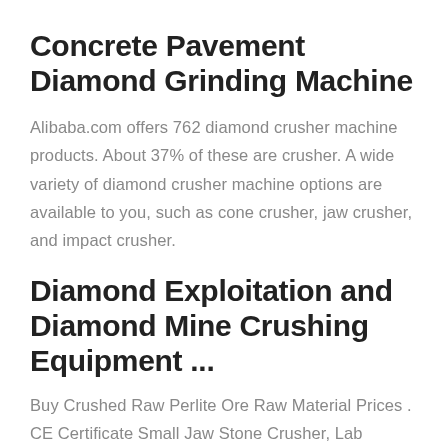Concrete Pavement Diamond Grinding Machine
Alibaba.com offers 762 diamond crusher machine products. About 37% of these are crusher. A wide variety of diamond crusher machine options are available to you, such as cone crusher, jaw crusher, and impact crusher.
Diamond Exploitation and Diamond Mine Crushing Equipment ...
Buy Crushed Raw Perlite Ore Raw Material Prices . CE Certificate Small Jaw Stone Crusher, Lab Crushing Machine For Ore and Coal Sample Preparation. Get